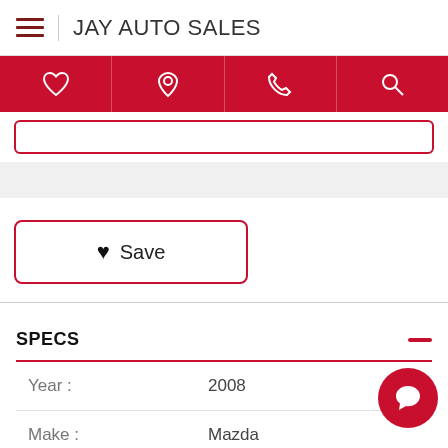JAY AUTO SALES
[Figure (screenshot): Navigation bar with heart, location pin, phone, and search icons on red background]
Save
SPECS
| Field | Value |
| --- | --- |
| Year : | 2008 |
| Make : | Mazda |